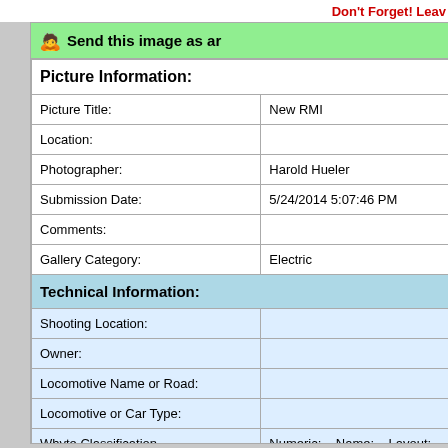Don't Forget! Leav
👆 Send this image as ar
Picture Information:
| Field | Value |
| --- | --- |
| Picture Title: | New RMI |
| Location: |  |
| Photographer: | Harold Hueler |
| Submission Date: | 5/24/2014 5:07:46 PM |
| Comments: |  |
| Gallery Category: | Electric |
Technical Information:
| Field | Value |
| --- | --- |
| Shooting Location: |  |
| Owner: |  |
| Locomotive Name or Road: |  |
| Locomotive or Car Type: |  |
| Whyte Classification | Numeric:    Name:    Layout: |
| Track Gauge: | 7.5 |
| Scale: |  |